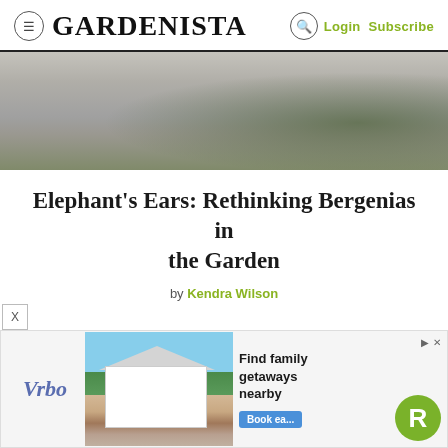GARDENISTA — Login Subscribe
[Figure (photo): Aerial or ground-level view of sandy/gravelly garden path with green foliage in background]
Elephant's Ears: Rethinking Bergenias in the Garden
by Kendra Wilson
April 10, 2018
[Figure (photo): Vrbo advertisement banner showing a beach house rental with text 'Find family getaways nearby' and a Book Now button]